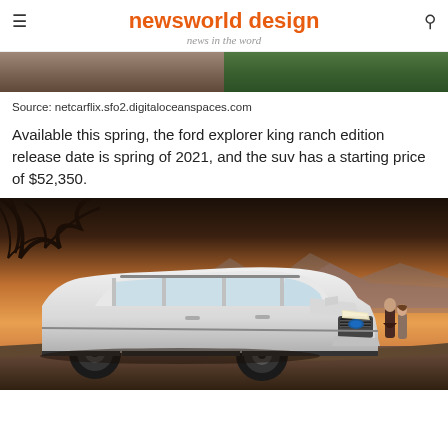newsworld design — news in the word
[Figure (photo): Two partial images at top of page — left shows a person partially visible, right shows a green outdoor/tree scene]
Source: netcarflix.sfo2.digitaloceanspaces.com
Available this spring, the ford explorer king ranch edition release date is spring of 2021, and the suv has a starting price of $52,350.
[Figure (photo): Ford Explorer SUV in white/silver parked on a dirt road at sunset/dusk with warm orange sky background and mountains; two people visible in the background on the right side]